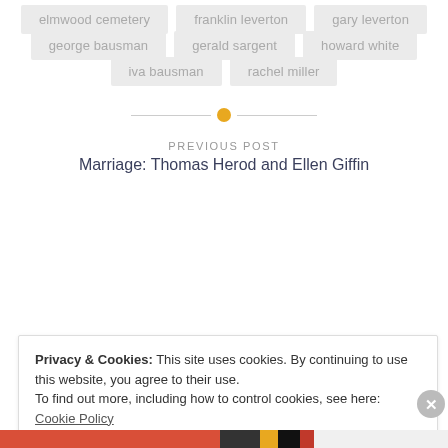elmwood cemetery
franklin leverton
gary leverton
george bausman
gerald sargent
howard white
iva bausman
rachel miller
[Figure (other): Horizontal divider line with orange circle dot in center]
PREVIOUS POST
Marriage: Thomas Herod and Ellen Giffin
Privacy & Cookies: This site uses cookies. By continuing to use this website, you agree to their use.
To find out more, including how to control cookies, see here: Cookie Policy
Close and accept